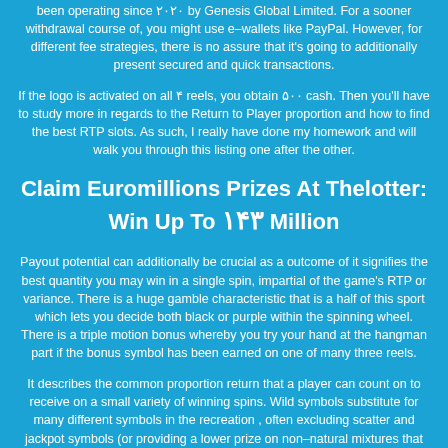been operating since ۲۰۲۰ by Genesis Global Limited. For a sooner withdrawal course of, you might use e–wallets like PayPal. However, for different fee strategies, there is no assure that it's going to additionally present secured and quick transactions.
If the logo is activated on all ۴ reels, you obtain ۵۰۰ cash. Then you'll have to study more in regards to the Return to Player proportion and how to find the best RTP slots. As such, I really have done my homework and will walk you through this listing one after the other.
Claim Euromillions Prizes At Thelotter: Win Up To ۱۴۳ Million
Payout potential can additionally be crucial as a outcome of it signifies the best quantity you may win in a single spin, impartial of the game's RTP or variance. There is a huge gamble characteristic that is a half of this sport which lets you decide both black or purple within the spinning wheel. There is a triple motion bonus whereby you try your hand at the hangman part if the bonus symbol has been earned on one of many three reels.
It describes the common proportion return that a player can count on to receive on a small variety of winning spins. Wild symbols substitute for many different symbols in the recreation , often excluding scatter and jackpot symbols (or providing a lower prize on non–natural mixtures that embody wilds). How jokers behave are depending on the specific game but they present the participant in playing bonus features or wilds and more.